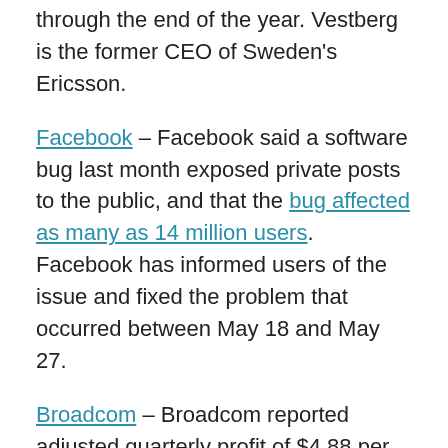Lowell McAdam, who will remain as executive chairman through the end of the year. Vestberg is the former CEO of Sweden's Ericsson.
Facebook – Facebook said a software bug last month exposed private posts to the public, and that the bug affected as many as 14 million users. Facebook has informed users of the issue and fixed the problem that occurred between May 18 and May 27.
Broadcom – Broadcom reported adjusted quarterly profit of $4.88 per share, 12 cents above estimates, with the chipmaker also seeing revenue beat forecasts on strong demand in the data center market. However, the company did issue weaker than expected current quarter guidance.
Stitch Fix – Stitch Fix came in 6 cents above estimates with quarterly profit of nine cents per share, with revenue also